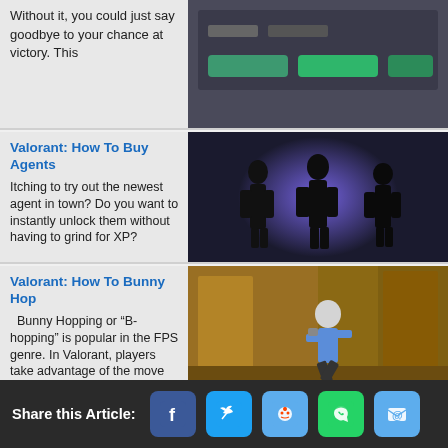Without it, you could just say goodbye to your chance at victory. This
[Figure (screenshot): Screenshot of a game interface with a green button]
Valorant: How To Buy Agents
Itching to try out the newest agent in town? Do you want to instantly unlock them without having to grind for XP?
[Figure (illustration): Silhouettes of three Valorant agents against a purple-blue glowing background]
Valorant: How To Bunny Hop
Bunny Hopping or “B-hopping” is popular in the FPS genre. In Valorant, players take advantage of the move
[Figure (illustration): Valorant agent performing a bunny hop jump in a canyon environment]
Valorant: How To Buy For Someone
Can’t afford to buy that Operator this round? Your teammates can buy it for you! Valorant has a request system where
[Figure (illustration): Silhouettes of multiple Valorant agents standing together on grey background]
Share this Article: